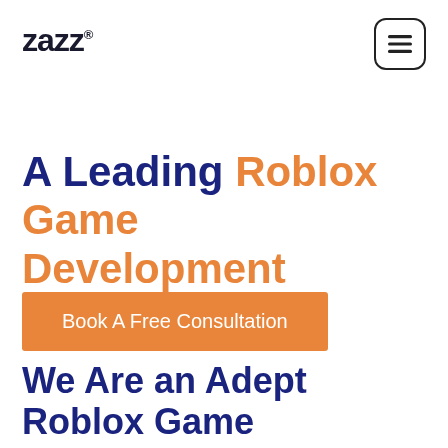[Figure (logo): ZAZZ logo in bold black sans-serif text with registered trademark symbol]
[Figure (other): Hamburger menu icon — three horizontal lines in a rounded square border]
A Leading Roblox Game Development Agency
Book A Free Consultation
We Are an Adept Roblox Game Development Team